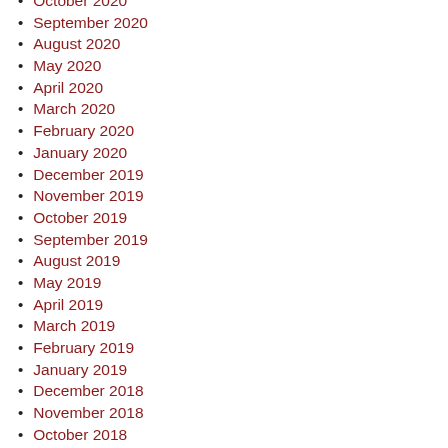October 2020
September 2020
August 2020
May 2020
April 2020
March 2020
February 2020
January 2020
December 2019
November 2019
October 2019
September 2019
August 2019
May 2019
April 2019
March 2019
February 2019
January 2019
December 2018
November 2018
October 2018
September 2018
August 2018
May 2018
April 2018